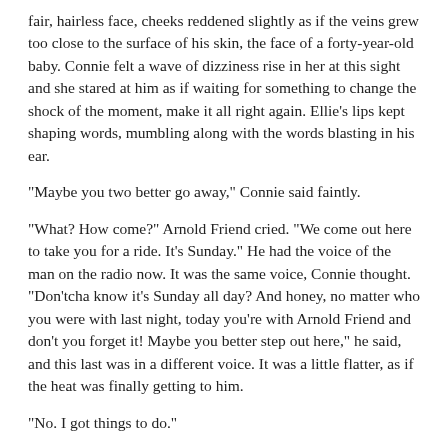fair, hairless face, cheeks reddened slightly as if the veins grew too close to the surface of his skin, the face of a forty-year-old baby. Connie felt a wave of dizziness rise in her at this sight and she stared at him as if waiting for something to change the shock of the moment, make it all right again. Ellie's lips kept shaping words, mumbling along with the words blasting in his ear.
"Maybe you two better go away," Connie said faintly.
"What? How come?" Arnold Friend cried. "We come out here to take you for a ride. It's Sunday." He had the voice of the man on the radio now. It was the same voice, Connie thought. "Don'tcha know it's Sunday all day? And honey, no matter who you were with last night, today you're with Arnold Friend and don't you forget it! Maybe you better step out here," he said, and this last was in a different voice. It was a little flatter, as if the heat was finally getting to him.
"No. I got things to do."
“Hey.”
"You two better leave."
“He told her in a real low voice, come outside.”